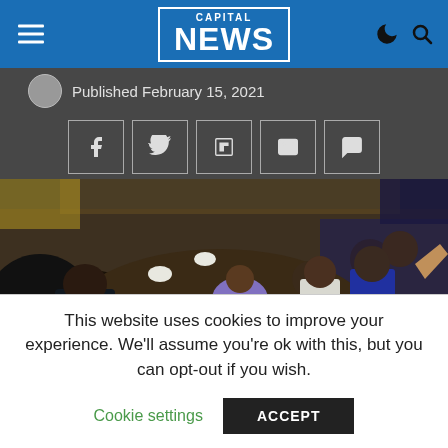CAPITAL NEWS
Published February 15, 2021
[Figure (photo): Crowd of people at an outdoor gathering event, some wearing face masks, a man in purple clothing at center]
This website uses cookies to improve your experience. We'll assume you're ok with this, but you can opt-out if you wish.
Cookie settings   ACCEPT